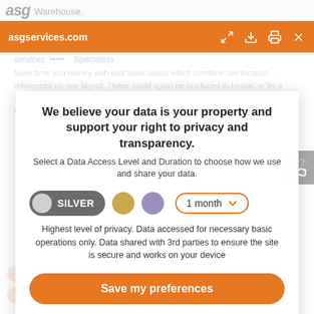asgservices.com
We believe your data is your property and support your right to privacy and transparency.
Select a Data Access Level and Duration to choose how we use and share your data.
Highest level of privacy. Data accessed for necessary basic operations only. Data shared with 3rd parties to ensure the site is secure and works on your device
Save my preferences
Customize
Privacy policy